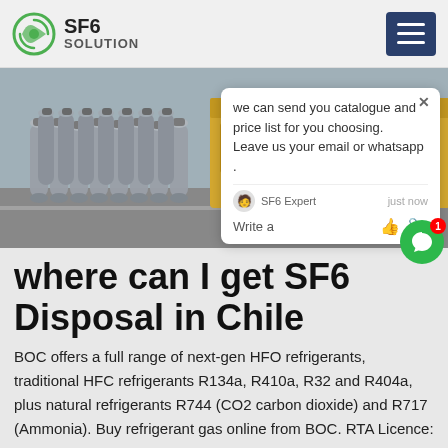SF6 SOLUTION
[Figure (photo): Rows of grey industrial gas cylinders arranged on the ground next to a yellow truck/vehicle in an outdoor industrial setting.]
where can I get SF6 Disposal in Chile
BOC offers a full range of next-gen HFO refrigerants, traditional HFC refrigerants R134a, R410a, R32 and R404a, plus natural refrigerants R744 (CO2 carbon dioxide) and R717 (Ammonia). Buy refrigerant gas online from BOC. RTA Licence: